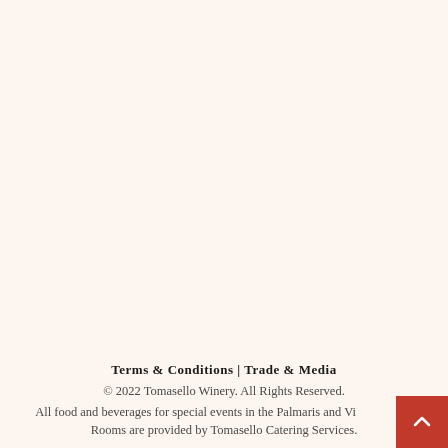Terms & Conditions | Trade & Media
© 2022 Tomasello Winery. All Rights Reserved.
All food and beverages for special events in the Palmaris and Vineyards Rooms are provided by Tomasello Catering Services.